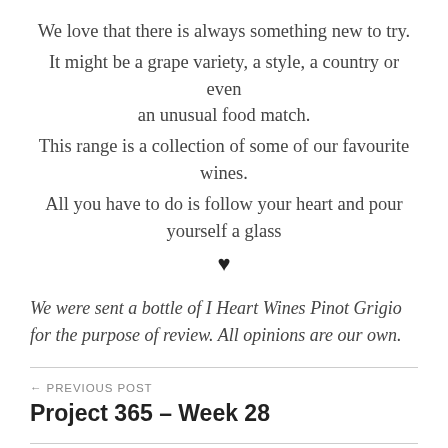We love that there is always something new to try. It might be a grape variety, a style, a country or even an unusual food match. This range is a collection of some of our favourite wines. All you have to do is follow your heart and pour yourself a glass
♥
We were sent a bottle of I Heart Wines Pinot Grigio for the purpose of review. All opinions are our own.
← PREVIOUS POST
Project 365 – Week 28